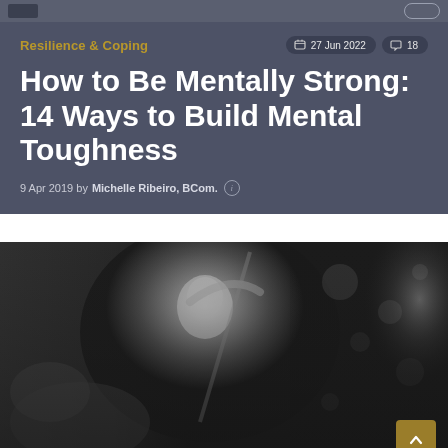Resilience & Coping
27 Jun 2022  18
How to Be Mentally Strong: 14 Ways to Build Mental Toughness
9 Apr 2019 by Michelle Ribeiro, BCom.
[Figure (photo): Black and white photo of an athlete paddling through water with intense focus, water splashing around them]